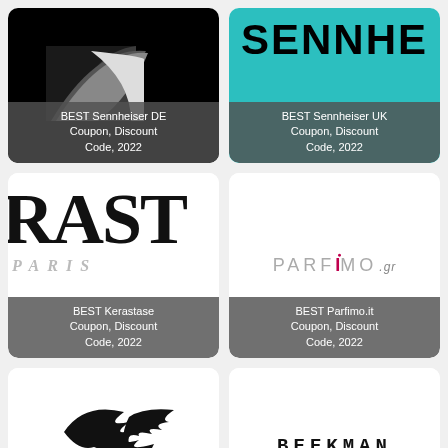[Figure (logo): Sennheiser DE brand logo on black background with curved graphic element and SENNHEISER text]
BEST Sennheiser DE Coupon, Discount Code, 2022
[Figure (logo): Sennheiser UK brand logo on teal/cyan background with SENNHE text visible]
BEST Sennheiser UK Coupon, Discount Code, 2022
[Figure (logo): Kerastase Paris brand logo showing RAST text large with PARIS below]
BEST Kerastase Coupon, Discount Code, 2022
[Figure (logo): PARFIMO.gr logo in light gray with red dot over i]
BEST Parfimo.it Coupon, Discount Code, 2022
[Figure (logo): Headsweats brand logo with bird/speed graphic and HEADSWEATS text]
BEST Headsweats Coupon, Discount Code, 2022
[Figure (logo): Beekman 1802 logo in monospace bold font]
BEST Beekman1802 Coupon, Discount Code, 2022